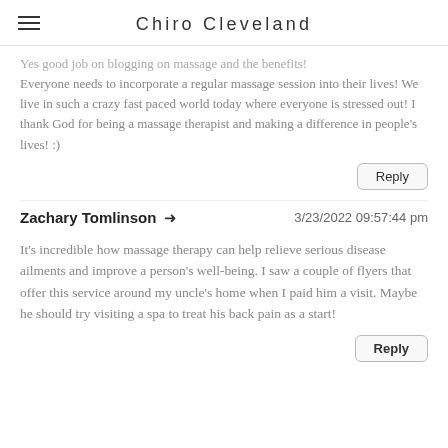Chiro Cleveland
Yes good job on blogging on massage and the benefits! Everyone needs to incorporate a regular massage session into their lives! We live in such a crazy fast paced world today where everyone is stressed out! I thank God for being a massage therapist and making a difference in people's lives! :)
Reply
Zachary Tomlinson  →  3/23/2022 09:57:44 pm
It's incredible how massage therapy can help relieve serious disease ailments and improve a person's well-being. I saw a couple of flyers that offer this service around my uncle's home when I paid him a visit. Maybe he should try visiting a spa to treat his back pain as a start!
Reply